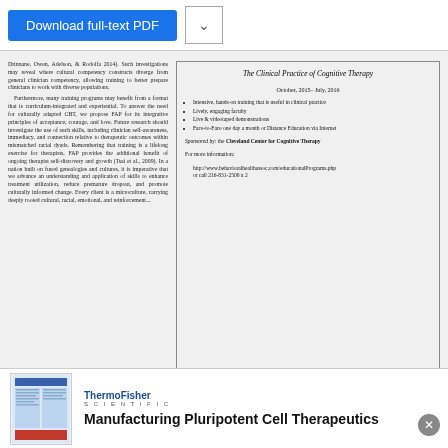Download full-text PDF
Drinnane, Owen, Adelson, & Rodolfa 2014). Such investigations may reveal where cultural competency constructs diverge from general clinician competency, allowing training to better prepare clinicians to work with diverse populations.
    Furthermore, many training programs may benefit from a format that is curriculum-integrated and experiential. To answer the need for culturally adapted CBT, we propose FAP for its integrative principles of acceptance, courage, and love. Future research should investigate the use of such skills, including clinician self-awareness, immediacy, and connection relative to therapeutic outcomes within mismatched racial dyads. Remembering that training is a lifelong exercise for therapists, FAP provides the additional benefit of ongoing therapist self-discovery and growth (Tsai et al., 2009). In a nation built on fused genealogies and cultures, it is imperative that we advance an understanding and application of skills to enhance treatment utilization, reduce premature dropout, and promote culturally informed change. Every client is a microculture, carrying deeply rooted cultural, social, emotional, and reinforcement...
[Figure (infographic): Box advertisement for 'The Clinical Practice of Cognitive Therapy' training program, October 2015 - July 2016, listing features and contact information for Cleveland Center for Cognitive Therapy]
erptions, and outcomes. Journal of Counseling Psychology, 58(4), 37-354.
Cardena, E.V., & Batia, C.L. (2008). Guess who's coming to therapy? Getting comfortable with conversations about race and ethnicity in psychotherapy. Professional Psychology Research and Practice, 34, 278-286.
Chan, D.H., Lincoln, K.D., & Jackson, J.S. (2011). Discrimination, attribution, and racial group identification: Implications for psychological distress among Black Americans in the National Survey of American Life (2001-2003). American...
Drinnane, JM, Owen, J. Adelson, J.L., & Rodolfa E. (2014). Multicultural competencies: What are we measuring? Psychotherapy Research. doi: 10.1080/10503307.2014.98358
Hicker, S., Waldron, H., Turner, C., Brody, J. & Hops, H. (2008). Ethnic matching and treatment outcome with Hispanic and Anglo substance-abusing adolescents in family therapy. Journal of Family Psychology, 22(3), 439-447. doi:10.1087/0893-3200.22.3.439
Franklin, A. J. (1999). Invisibility syndrome and racial identity development...
[Figure (photo): Thumbnail image of a document/paper]
ThermoFisher SCIENTIFIC
Manufacturing Pluripotent Cell Therapeutics